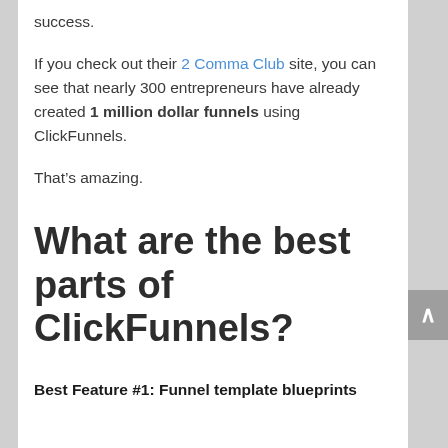success.
If you check out their 2 Comma Club site, you can see that nearly 300 entrepreneurs have already created 1 million dollar funnels using ClickFunnels.
That’s amazing.
What are the best parts of ClickFunnels?
Best Feature #1: Funnel template blueprints